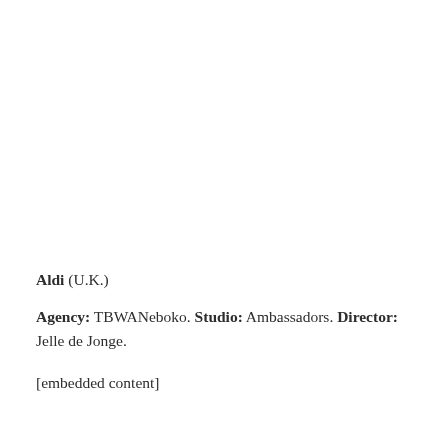Aldi (U.K.)
Agency: TBWANeboko. Studio: Ambassadors. Director: Jelle de Jonge.
[embedded content]